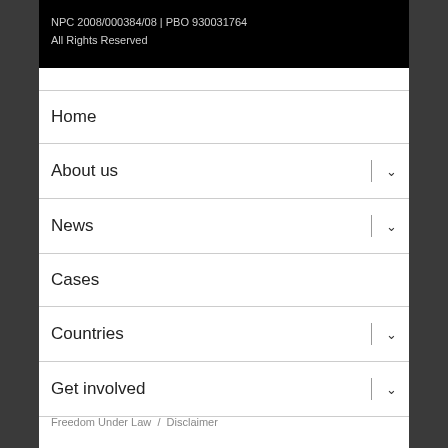NPC 2008/000384/08 | PBO 930031764
All Rights Reserved
Home
About us
News
Cases
Countries
Get involved
Freedom Under Law  /  Disclaimer